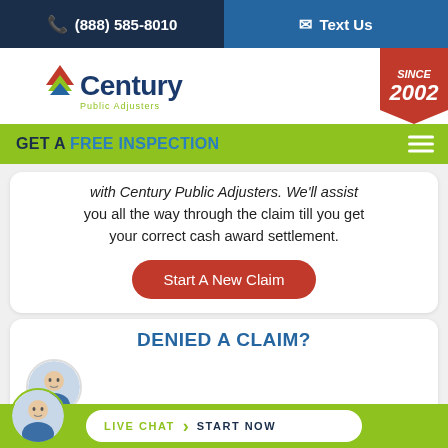☎ (888) 585-8010  ✉ Text Us
[Figure (logo): Century Public Adjusters logo with icon and 'SINCE 2002' red banner badge]
GET A FREE INSPECTION
with Century Public Adjusters. We'll assist you all the way through the claim till you get your correct cash award settlement.
Start A New Claim
DENIED A CLAIM?
...as...y
LIVE CHAT  START NOW